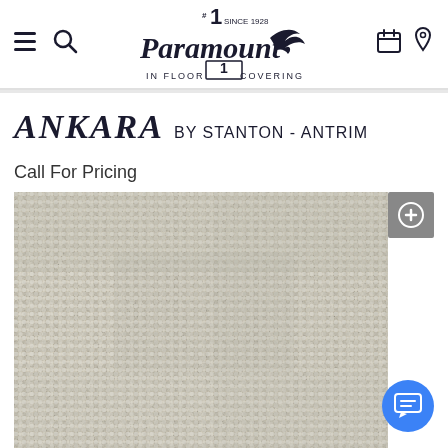[Figure (logo): Paramount In Floor Covering logo — #1 SINCE 1928, script lettering]
ANKARA BY STANTON - ANTRIM
Call For Pricing
[Figure (photo): Close-up photo of Antrim carpet texture — light gray/beige looped berber pile fabric]